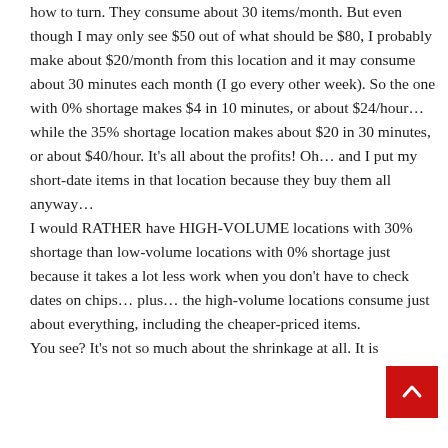how to turn. They consume about 30 items/month. But even though I may only see $50 out of what should be $80, I probably make about $20/month from this location and it may consume about 30 minutes each month (I go every other week). So the one with 0% shortage makes $4 in 10 minutes, or about $24/hour… while the 35% shortage location makes about $20 in 30 minutes, or about $40/hour. It's all about the profits! Oh… and I put my short-date items in that location because they buy them all anyway…
I would RATHER have HIGH-VOLUME locations with 30% shortage than low-volume locations with 0% shortage just because it takes a lot less work when you don't have to check dates on chips… plus… the high-volume locations consume just about everything, including the cheaper-priced items.
You see? It's not so much about the shrinkage at all. It is